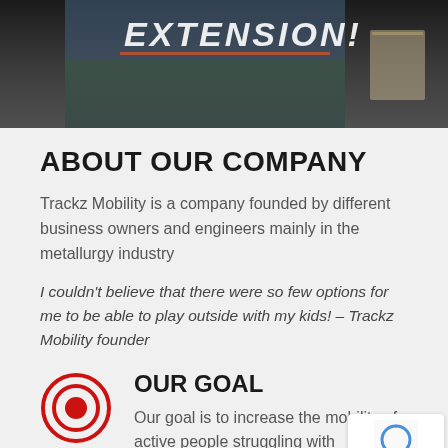[Figure (photo): Banner image showing text 'EXTENSION!' and outdoor mobility/wheelchair scene]
ABOUT OUR COMPANY
Trackz Mobility is a company founded by different business owners and engineers mainly in the metallurgy industry
I couldn't believe that there were so few options for me to be able to play outside with my kids! – Trackz Mobility founder
[Figure (illustration): Target/bullseye red circle icon for OUR GOAL section]
OUR GOAL
Our goal is to increase the mobility of active people struggling with disabilities